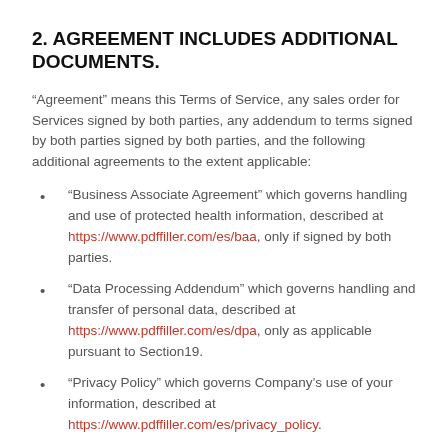2. AGREEMENT INCLUDES ADDITIONAL DOCUMENTS.
“Agreement” means this Terms of Service, any sales order for Services signed by both parties, any addendum to terms signed by both parties signed by both parties, and the following additional agreements to the extent applicable:
“Business Associate Agreement” which governs handling and use of protected health information, described at https://www.pdffiller.com/es/baa, only if signed by both parties.
“Data Processing Addendum” which governs handling and transfer of personal data, described at https://www.pdffiller.com/es/dpa, only as applicable pursuant to Section19.
“Privacy Policy” which governs Company’s use of your information, described at https://www.pdffiller.com/es/privacy_policy.
“Service Level Agreement” (if applicable) which governs availability of the Subscription Services for Subscrib...